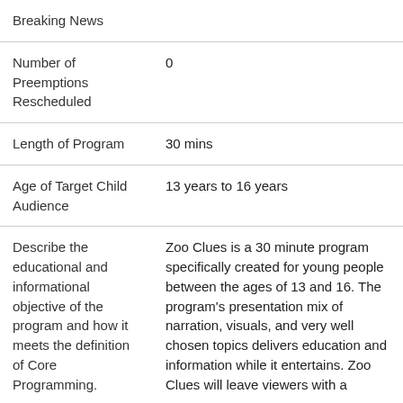| Field | Value |
| --- | --- |
| Breaking News |  |
| Number of Preemptions Rescheduled | 0 |
| Length of Program | 30 mins |
| Age of Target Child Audience | 13 years to 16 years |
| Describe the educational and informational objective of the program and how it meets the definition of Core Programming. | Zoo Clues is a 30 minute program specifically created for young people between the ages of 13 and 16. The program's presentation mix of narration, visuals, and very well chosen topics delivers education and information while it entertains. Zoo Clues will leave viewers with a |